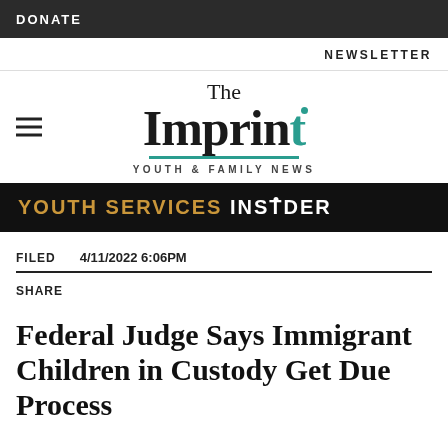DONATE
NEWSLETTER
[Figure (logo): The Imprint Youth & Family News logo with teal underline and dot]
[Figure (logo): YOUTH SERVICES INSIDER banner in gold and white text on black background]
FILED   4/11/2022 6:06PM
SHARE
Federal Judge Says Immigrant Children in Custody Get Due Process